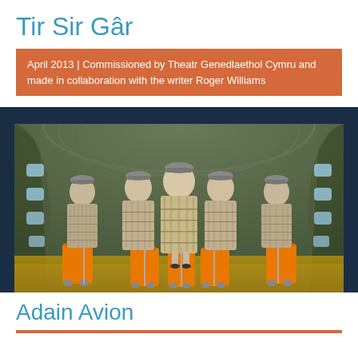Tir Sir Gâr
April 2013 | Commissioned by Theatr Genedlaethol Cymru and made in collaboration with the writer Roger Williams
[Figure (photo): Six performers in matching plaid/check dresses and grey caps standing inside a vintage aircraft fuselage, each holding orange rolling suitcases. The shot is taken from a low angle looking down the aisle, with the curved green metal fuselage visible on both sides.]
Adain Avion